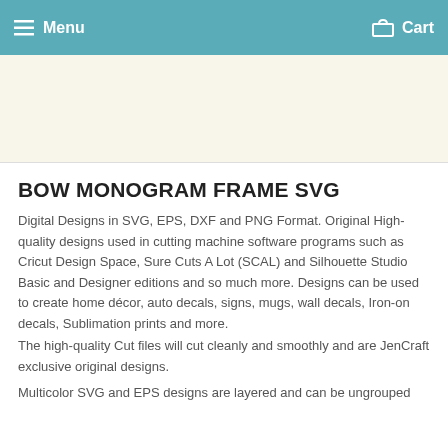Menu    Cart
[Figure (other): Product image area - blank/light cream colored rectangular space]
BOW MONOGRAM FRAME SVG
Digital Designs in SVG, EPS, DXF and PNG Format. Original High-quality designs used in cutting machine software programs such as Cricut Design Space, Sure Cuts A Lot (SCAL) and Silhouette Studio Basic and Designer editions and so much more. Designs can be used to create home décor, auto decals, signs, mugs, wall decals, Iron-on decals, Sublimation prints and more.
The high-quality Cut files will cut cleanly and smoothly and are JenCraft exclusive original designs.
Multicolor SVG and EPS designs are layered and can be ungrouped